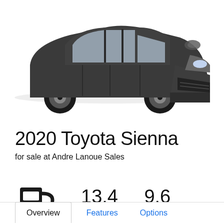[Figure (photo): Front three-quarter view of a dark grey 2020 Toyota Sienna minivan on a white background]
2020 Toyota Sienna
for sale at Andre Lanoue Sales
[Figure (infographic): Fuel pump icon with fuel consumption stats: 13.4 L/100 km and 9.6 L/100 km]
Overview | Features | Options